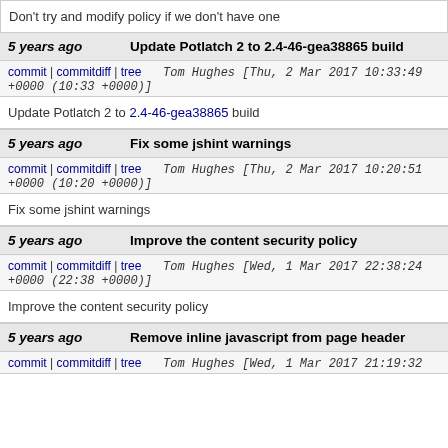Don't try and modify policy if we don't have one
5 years ago  Update Potlatch 2 to 2.4-46-gea38865 build
commit | commitdiff | tree  Tom Hughes [Thu, 2 Mar 2017 10:33:49 +0000 (10:33 +0000)]
Update Potlatch 2 to 2.4-46-gea38865 build
5 years ago  Fix some jshint warnings
commit | commitdiff | tree  Tom Hughes [Thu, 2 Mar 2017 10:20:51 +0000 (10:20 +0000)]
Fix some jshint warnings
5 years ago  Improve the content security policy
commit | commitdiff | tree  Tom Hughes [Wed, 1 Mar 2017 22:38:24 +0000 (22:38 +0000)]
Improve the content security policy
5 years ago  Remove inline javascript from page header
commit | commitdiff | tree  Tom Hughes [Wed, 1 Mar 2017 21:19:32 +0000 (21:19 +0000)]